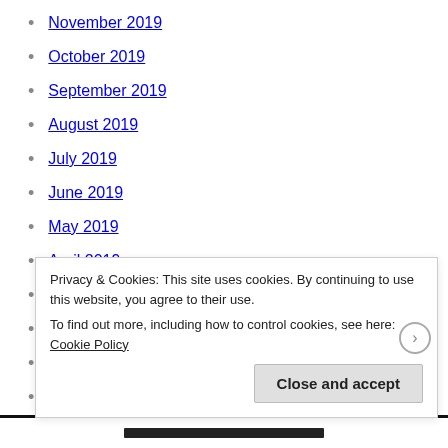November 2019
October 2019
September 2019
August 2019
July 2019
June 2019
May 2019
April 2019
March 2019
February 2019
January 2019
December 2018
Privacy & Cookies: This site uses cookies. By continuing to use this website, you agree to their use. To find out more, including how to control cookies, see here: Cookie Policy
Close and accept